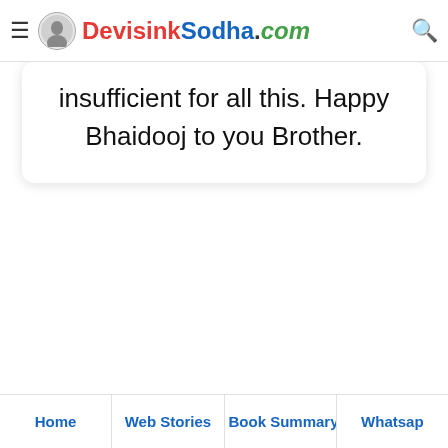DevisinhSodha.com
insufficient for all this. Happy Bhaidooj to you Brother.
Home | Web Stories | Book Summary | Whatsap